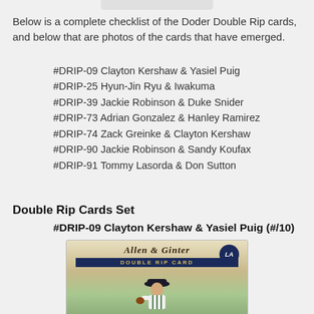Below is a complete checklist of the Doder Double Rip cards, and below that are photos of the cards that have emerged.
#DRIP-09 Clayton Kershaw & Yasiel Puig
#DRIP-25 Hyun-Jin Ryu & Iwakuma
#DRIP-39 Jackie Robinson & Duke Snider
#DRIP-73 Adrian Gonzalez & Hanley Ramirez
#DRIP-74 Zack Greinke & Clayton Kershaw
#DRIP-90 Jackie Robinson & Sandy Koufax
#DRIP-91 Tommy Lasorda & Don Sutton
Double Rip Cards Set
#DRIP-09 Clayton Kershaw & Yasiel Puig (#/10)
[Figure (photo): Allen & Ginter Double Rip Card #DRIP-09 featuring a baseball player illustration in vintage style with LA Dodgers logo]